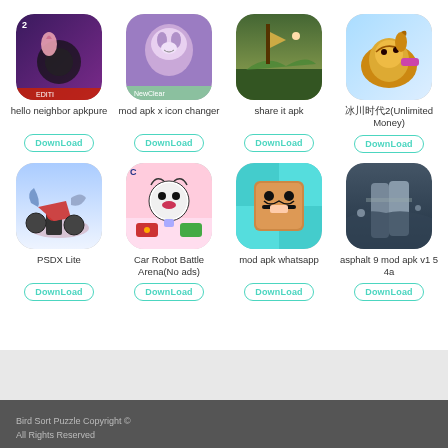[Figure (screenshot): App grid with 8 mobile app icons, names, and download buttons in 4 columns and 2 rows]
hello neighbor apkpure
mod apk x icon changer
share it apk
冰川时代2(Unlimited Money)
PSDX Lite
Car Robot Battle Arena(No ads)
mod apk whatsapp
asphalt 9 mod apk v1 5 4a
Bird Sort Puzzle Copyright © All Rights Reserved